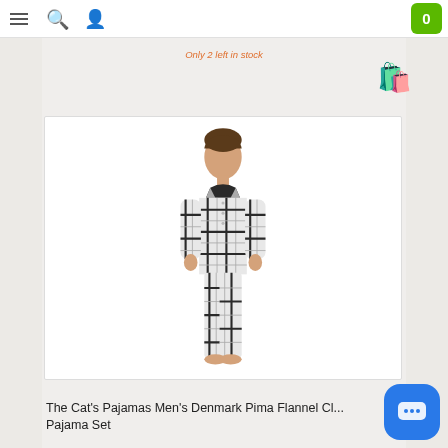Navigation bar with hamburger menu, search, user icons and cart (0)
Only 2 left in stock
[Figure (photo): Man wearing black and white plaid flannel pajama set, full body shot on white background]
The Cat's Pajamas Men's Denmark Pima Flannel Cl... Pajama Set